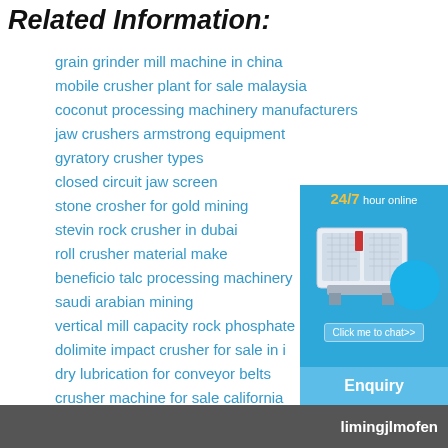Related Information:
grain grinder mill machine in china
mobile crusher plant for sale malaysia
coconut processing machinery manufacturers
jaw crushers armstrong equipment
gyratory crusher types
closed circuit jaw screen
stone crosher for gold mining
stevin rock crusher in dubai
roll crusher material make
beneficio talc processing machinery
saudi arabian mining
vertical mill capacity rock phosphate
dolimite impact crusher for sale in i
dry lubrication for conveyor belts
crusher machine for sale california
[Figure (infographic): Blue sidebar panel showing 24/7 hour online text, industrial crusher machine image, Click me to chat>> button, Enquiry bar, and limingjlmofen footer text on gray bar.]
Enquiry
limingjlmofen